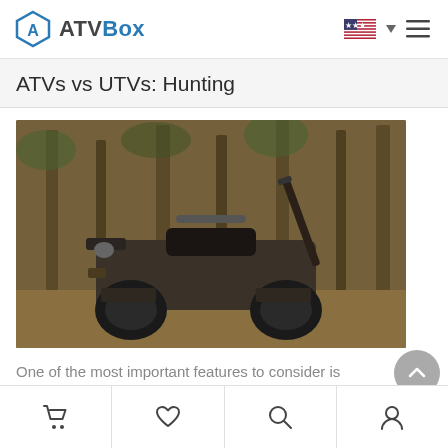ATVBox
ATVs vs UTVs: Hunting
[Figure (photo): A camouflage ATV parked in a forest setting with trees and dry vegetation, equipped with gun holder and accessories.]
One of the most important features to consider is cargo capacity. UTVs allow you to load as much
Cart | Wishlist | Search | Account